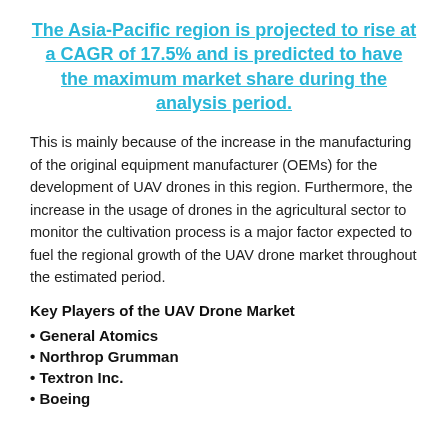The Asia-Pacific region is projected to rise at a CAGR of 17.5% and is predicted to have the maximum market share during the analysis period.
This is mainly because of the increase in the manufacturing of the original equipment manufacturer (OEMs) for the development of UAV drones in this region. Furthermore, the increase in the usage of drones in the agricultural sector to monitor the cultivation process is a major factor expected to fuel the regional growth of the UAV drone market throughout the estimated period.
Key Players of the UAV Drone Market
• General Atomics
• Northrop Grumman
• Textron Inc.
• Boeing